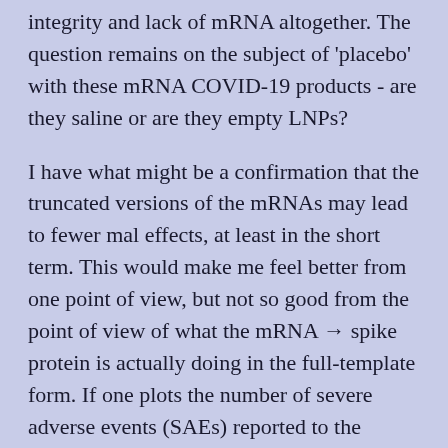integrity and lack of mRNA altogether. The question remains on the subject of 'placebo' with these mRNA COVID-19 products - are they saline or are they empty LNPs?
I have what might be a confirmation that the truncated versions of the mRNAs may lead to fewer mal effects, at least in the short term. This would make me feel better from one point of view, but not so good from the point of view of what the mRNA → spike protein is actually doing in the full-template form. If one plots the number of severe adverse events (SAEs) reported to the Domestic data set in VAERS in the context of the COVID-19 Pfizer products against the time between the product manufacturing date of each VAX LOT and the injection date, one sees the following plot. P...